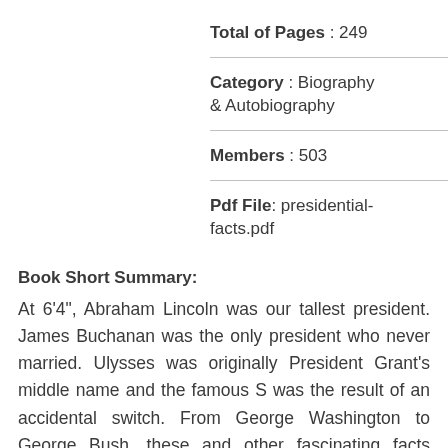Total of Pages : 249
Category : Biography & Autobiography
Members : 503
Pdf File: presidential-facts.pdf
Book Short Summary:
At 6'4", Abraham Lincoln was our tallest president. James Buchanan was the only president who never married. Ulysses was originally President Grant's middle name and the famous S was the result of an accidental switch. From George Washington to George Bush, these and other fascinating facts come to light through this examination of the men